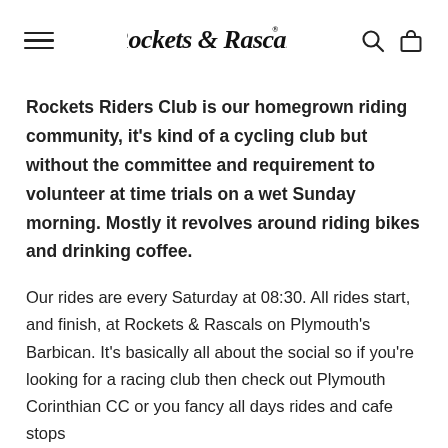Rockets & Rascals — navigation header with hamburger menu, logo, search and bag icons
Rockets Riders Club is our homegrown riding community, it's kind of a cycling club but without the committee and requirement to volunteer at time trials on a wet Sunday morning. Mostly it revolves around riding bikes and drinking coffee.
Our rides are every Saturday at 08:30. All rides start, and finish, at Rockets & Rascals on Plymouth's Barbican. It's basically all about the social so if you're looking for a racing club then check out Plymouth Corinthian CC or you fancy all days rides and cafe stops